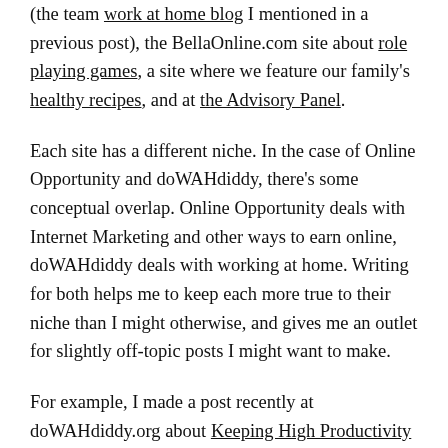(the team work at home blog I mentioned in a previous post), the BellaOnline.com site about role playing games, a site where we feature our family's healthy recipes, and at the Advisory Panel.
Each site has a different niche. In the case of Online Opportunity and doWAHdiddy, there's some conceptual overlap. Online Opportunity deals with Internet Marketing and other ways to earn online, doWAHdiddy deals with working at home. Writing for both helps me to keep each more true to their niche than I might otherwise, and gives me an outlet for slightly off-topic posts I might want to make.
For example, I made a post recently at doWAHdiddy.org about Keeping High Productivity At Home where I talked about the importance of where your home office is. That post would have been slightly off-topic here, but if I'd only had this blog I could have justified making the